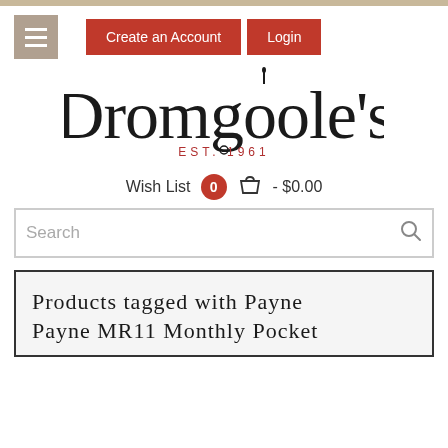Create an Account | Login
[Figure (logo): Dromgoole's logo with fountain pen, EST. 1961]
Wish List  0  - $0.00
Search
Products tagged with Payne Payne MR11 Monthly Pocket